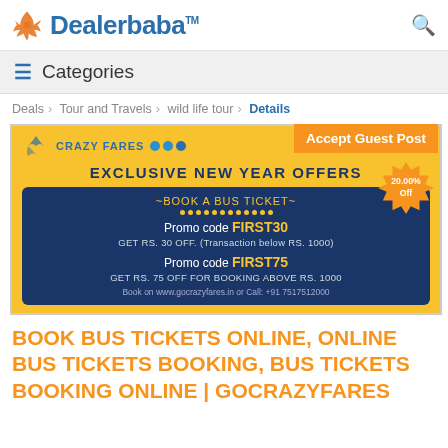Dealerbaba™
Categories
Deals > Tour and Travels > wild life tour > Details
[Figure (infographic): Crazy Fares promotional banner showing Exclusive New Year Offers with promo codes FIRST30 and FIRST75 for bus ticket booking, orange background with dark blue coupon box. Accept Guest Post orange banner top right. 20.00% Off starburst badge.]
BOOK BUS TICKETS ONLINE, ONLINE BUS TICKETS BOOKING, BUS TICKETS BOOKING ONLINE | GOCRAZYFARES